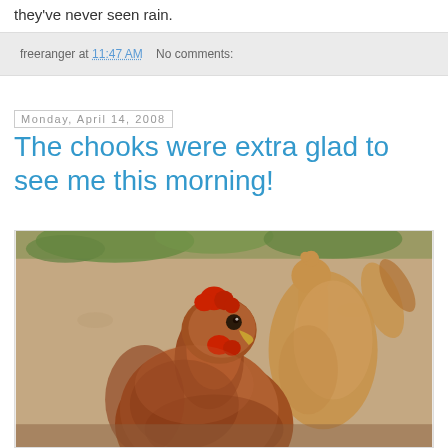they've never seen rain.
freeranger at 11:47 AM   No comments:
Monday, April 14, 2008
The chooks were extra glad to see me this morning!
[Figure (photo): Close-up photo of two brown chickens (hens/chooks) in a dirt yard with grass in the background. The foreground hen has a red comb and is facing the camera directly.]